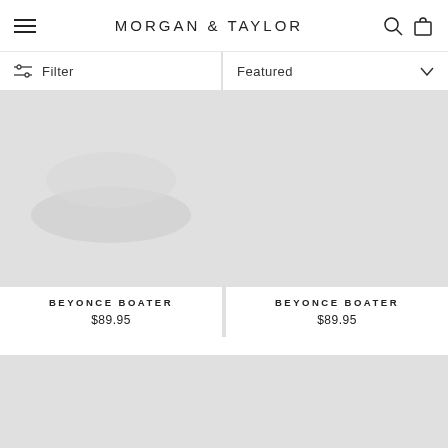MORGAN & TAYLOR
Filter
Featured
[Figure (photo): Product image placeholder for Beyonce Boater hat (left), light gray background with oval hat silhouette]
BEYONCE BOATER
$89.95
[Figure (photo): Product image placeholder for Beyonce Boater hat (right), plain light gray background]
BEYONCE BOATER
$89.95
[Figure (photo): Product image placeholder bottom-left, partial view, plain light gray]
[Figure (photo): Product image placeholder bottom-right, partial view, plain light gray]